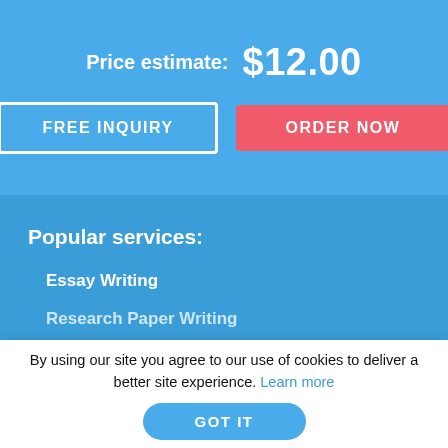Price estimate: $12.00
FREE INQUIRY
ORDER NOW
Popular services:
Essay Writing
Research Paper Writing
By using our site you agree to our use of cookies to deliver a better site experience. Learn more
GOT IT